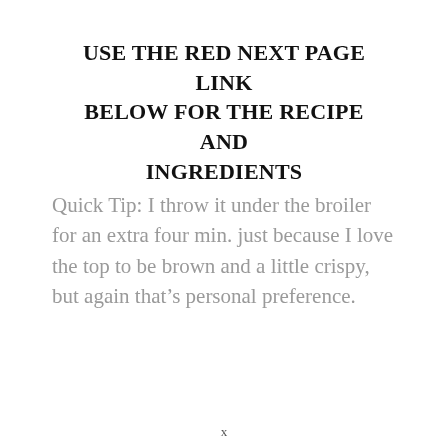USE THE RED NEXT PAGE LINK BELOW FOR THE RECIPE AND INGREDIENTS
Quick Tip: I throw it under the broiler for an extra four min. just because I love the top to be brown and a little crispy, but again that’s personal preference.
x